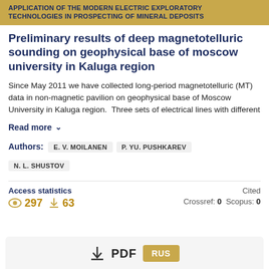APPLICATION OF THE MODERN ELECTRIC EXPLORATORY TECHNOLOGIES IN PROSPECTING OF MINERAL DEPOSITS
Preliminary results of deep magnetotelluric sounding on geophysical base of moscow university in Kaluga region
Since May 2011 we have collected long-period magnetotelluric (MT) data in non-magnetic pavilion on geophysical base of Moscow University in Kaluga region.  Three sets of electrical lines with different
Read more ∨
Authors: E. V. MOILANEN  P. YU. PUSHKAREV  N. L. SHUSTOV
Access statistics
297  63
Cited
Crossref: 0  Scopus: 0
↓  PDF  RUS